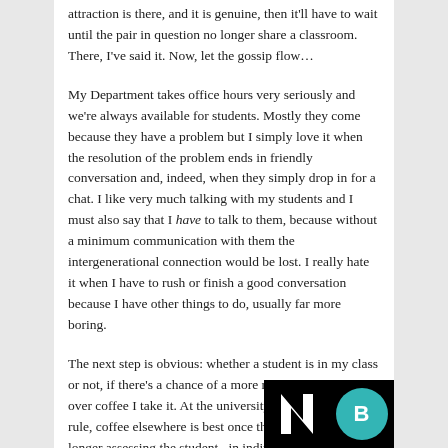attraction is there, and it is genuine, then it'll have to wait until the pair in question no longer share a classroom. There, I've said it. Now, let the gossip flow…
My Department takes office hours very seriously and we're always available for students. Mostly they come because they have a problem but I simply love it when the resolution of the problem ends in friendly conversation and, indeed, when they simply drop in for a chat. I like very much talking with my students and I must also say that I have to talk to them, because without a minimum communication with them the intergenerational connection would be lost. I really hate it when I have to rush or finish a good conversation because I have other things to do, usually far more boring.
The next step is obvious: whether a student is in my class or not, if there's a chance of a more relaxed conversation over coffee I take it. At the university cafeteria for, as a rule, coffee elsewhere is best once the teacher is no longer assessing the student –in individual cases,
[Figure (logo): Black bar with white N logo and teal circular B logo]